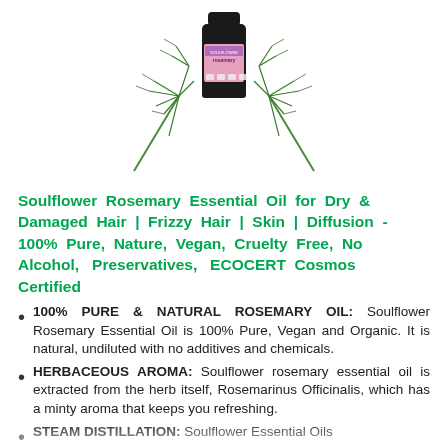[Figure (photo): Soulflower Rosemary Essential Oil product bottle with rosemary plant sprigs on a white background]
Soulflower Rosemary Essential Oil for Dry & Damaged Hair | Frizzy Hair | Skin | Diffusion - 100% Pure, Nature, Vegan, Cruelty Free, No Alcohol, Preservatives, ECOCERT Cosmos Certified
100% PURE & NATURAL ROSEMARY OIL: Soulflower Rosemary Essential Oil is 100% Pure, Vegan and Organic. It is natural, undiluted with no additives and chemicals.
HERBACEOUS AROMA: Soulflower rosemary essential oil is extracted from the herb itself, Rosemarinus Officinalis, which has a minty aroma that keeps you refreshing.
STEAM DISTILLATION: Soulflower Essential Oils